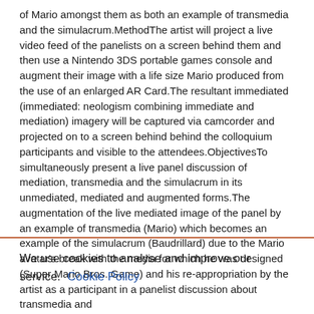of Mario amongst them as both an example of transmedia and the simulacrum.MethodThe artist will project a live video feed of the panelists on a screen behind them and then use a Nintendo 3DS portable games console and augment their image with a life size Mario produced from the use of an enlarged AR Card.The resultant immediated (immediated: neologism combining immediate and mediation) imagery will be captured via camcorder and projected on to a screen behind behind the colloquium participants and visible to the attendees.ObjectivesTo simultaneously present a live panel discussion of mediation, transmedia and the simulacrum in its unmediated, mediated and augmented forms.The augmentation of the live mediated image of the panel by an example of transmedia (Mario) which becomes an example of the simulacrum (Baudrillard) due to the Mario avatar's break with the media for which he was designed (Super Mario Bros. Game) and his re-appropriation by the artist as a participant in a panelist discussion about transmedia and
We use cookies to analyse and improve our service. Cookie Policy